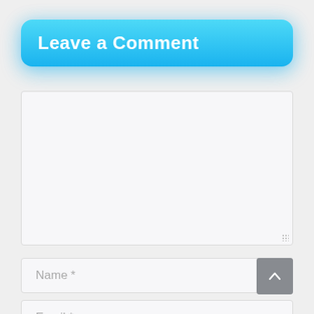Leave a Comment
[Figure (screenshot): Empty textarea/comment box with light gray background and border, with resize handle dots at bottom right]
Name *
Email *